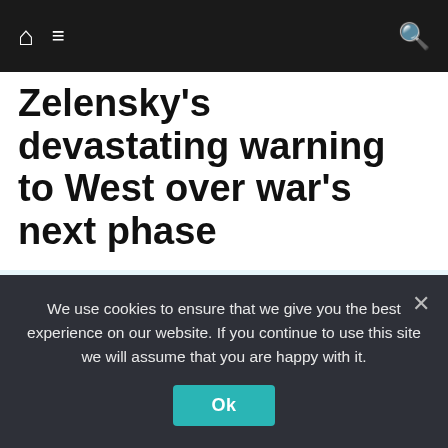Home | Menu | Search
Zelensky's devastating warning to West over war's next phase
@SubjectNo1 said: “Note the railroad tracks after the turn and the pattern of trees to the right. Must have been hit just after that corner.”
@Bigtoe169 said: “Did the orcs go up with it, God I hope so.”
We use cookies to ensure that we give you the best experience on our website. If you continue to use this site we will assume that you are happy with it.